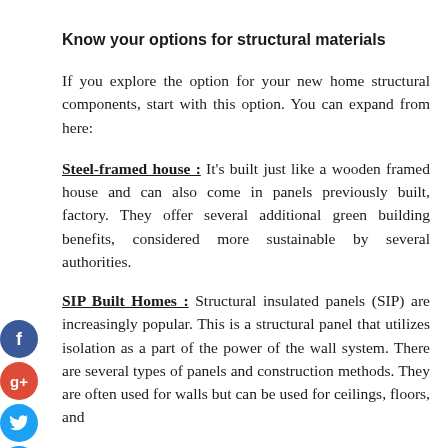Know your options for structural materials
If you explore the option for your new home structural components, start with this option. You can expand from here:
Steel-framed house : It's built just like a wooden framed house and can also come in panels previously built, factory. They offer several additional green building benefits, considered more sustainable by several authorities.
SIP Built Homes : Structural insulated panels (SIP) are increasingly popular. This is a structural panel that utilizes isolation as a part of the power of the wall system. There are several types of panels and construction methods. They are often used for walls but can be used for ceilings, floors, and